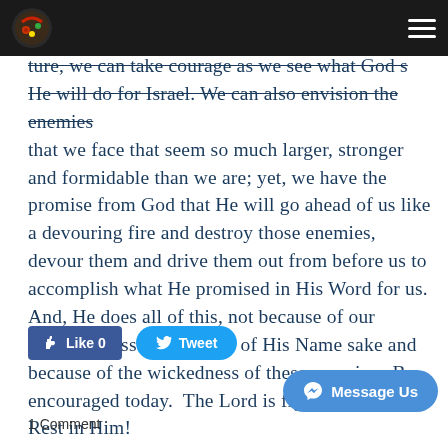[Logo] [Hamburger menu]
ture, we can take courage as we see what God s He will do for Israel. We can also envision the enemies that we face that seem so much larger, stronger and formidable than we are; yet, we have the promise from God that He will go ahead of us like a devouring fire and destroy those enemies, devour them and drive them out from before us to accomplish what He promised in His Word for us. And, He does all of this, not because of our righteousness but because of His Name sake and because of the wickedness of these enemies. Be encouraged today. The Lord is fighting for you! Rest in Him!
[Figure (other): Like 0 button (Facebook), Tweet button (Twitter), Message Us button (Facebook Messenger)]
1 Comment